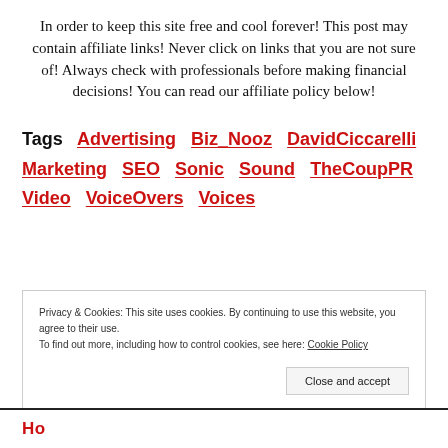In order to keep this site free and cool forever! This post may contain affiliate links! Never click on links that you are not sure of! Always check with professionals before making financial decisions! You can read our affiliate policy below!
Tags  Advertising  Biz_Nooz  DavidCiccarelli  Marketing  SEO  Sonic  Sound  TheCoupPR  Video  VoiceOvers  Voices
Privacy & Cookies: This site uses cookies. By continuing to use this website, you agree to their use. To find out more, including how to control cookies, see here: Cookie Policy
Close and accept